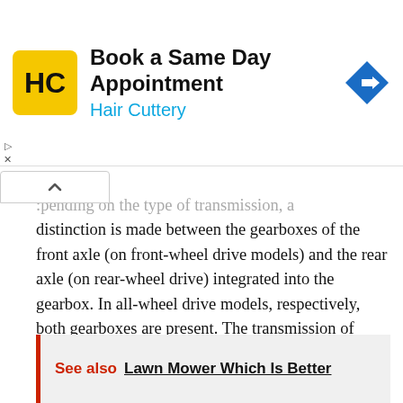[Figure (other): Advertisement banner for Hair Cuttery: 'Book a Same Day Appointment' with Hair Cuttery logo (HC in yellow square) and blue navigation arrow icon]
pending on the type of transmission, a distinction is made between the gearboxes of the front axle (on front-wheel drive models) and the rear axle (on rear-wheel drive) integrated into the gearbox. In all-wheel drive models, respectively, both gearboxes are present. The transmission of torque through the gearbox is carried out by means of gear wheels rotating at a certain frequency. Gearbox oil is used to prevent abrasion due to friction in the gearbox.
See also  Lawn Mower Which Is Better